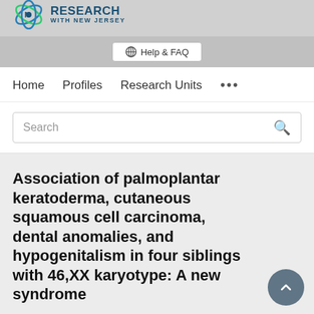RESEARCH WITH NEW JERSEY
Help & FAQ
Home   Profiles   Research Units   ...
Search
Association of palmoplantar keratoderma, cutaneous squamous cell carcinoma, dental anomalies, and hypogenitalism in four siblings with 46,XX karyotype: A new syndrome